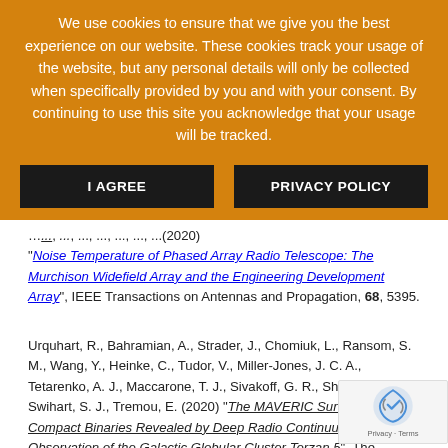We use cookies to ensure that we give you the best experience on our website. These cookies track your usage of the website, but any personal details will only be collected when specifically provided by you and with your consent. By continuing to use this site you acknowledge that your usage will be tracked.
I AGREE | PRIVACY POLICY
"Noise Temperature of Phased Array Radio Telescope: The Murchison Widefield Array and the Engineering Development Array", IEEE Transactions on Antennas and Propagation, 68, 5395.
Urquhart, R., Bahramian, A., Strader, J., Chomiuk, L., Ransom, S. M., Wang, Y., Heinke, C., Tudor, V., Miller-Jones, J. C. A., Tetarenko, A. J., Maccarone, T. J., Sivakoff, G. R., Shishkovsky, L., Swihart, S. J., Tremou, E. (2020) "The MAVERIC Survey: New Compact Binaries Revealed by Deep Radio Continuum Observations of the Galactic Globular Cluster Terzan 5", The Astrophysical Journal, 904, 147.